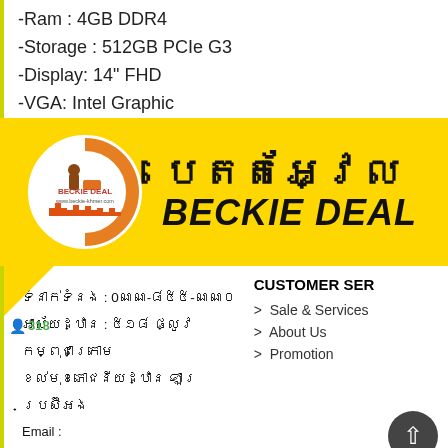-Ram : 4GB DDR4
-Storage : 512GB PCIe G3
-Display: 14" FHD
-VGA: Intel Graphic
[Figure (logo): Beckie Deal logo with Khmer text and English BECKIE DEAL on yellow banner background]
318
ទំនាក់ទំនង : 0ណណ-៨៥៥-ណណ០
អាស័យដ្ឋាន : ៥១៨ ផ្លូវកម្ពុជាក្រោម ១លំមុខភោជនីយដ្ឋាន ឡារ្រ​ប្រស៊ីអង
Email : sale_beckiekhmer@yahoo.com
CUSTOMER SER
Sale & Services
About Us
Promotion